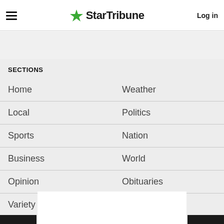StarTribune — Log in
SECTIONS
Home
Weather
Local
Politics
Sports
Nation
Business
World
Opinion
Obituaries
Variety
Sports Scores
MORE SECTIONS